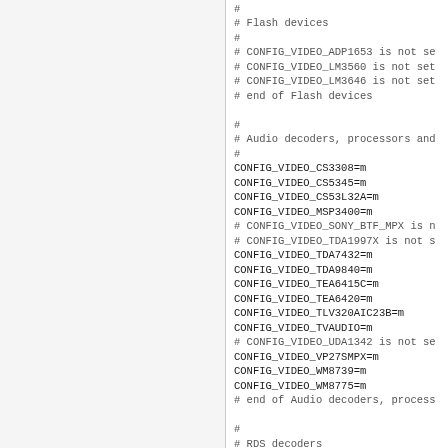# Flash devices
#
# CONFIG_VIDEO_ADP1653 is not set
# CONFIG_VIDEO_LM3560 is not set
# CONFIG_VIDEO_LM3646 is not set
# end of Flash devices

#
# Audio decoders, processors and
#
CONFIG_VIDEO_CS3308=m
CONFIG_VIDEO_CS5345=m
CONFIG_VIDEO_CS53L32A=m
CONFIG_VIDEO_MSP3400=m
# CONFIG_VIDEO_SONY_BTF_MPX is n
# CONFIG_VIDEO_TDA1997X is not s
CONFIG_VIDEO_TDA7432=m
CONFIG_VIDEO_TDA9840=m
CONFIG_VIDEO_TEA6415C=m
CONFIG_VIDEO_TEA6420=m
CONFIG_VIDEO_TLV320AIC23B=m
CONFIG_VIDEO_TVAUDIO=m
# CONFIG_VIDEO_UDA1342 is not se
CONFIG_VIDEO_VP27SMPX=m
CONFIG_VIDEO_WM8739=m
CONFIG_VIDEO_WM8775=m
# end of Audio decoders, process

#
# RDS decoders
#
CONFIG_VIDEO_SAA6588=m